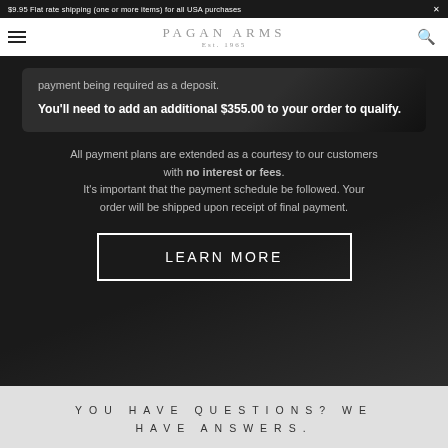$9.95 Flat rate shipping (one or more items) for all USA purchases ×
payment being required as a deposit.
You'll need to add an additional $355.00 to your order to qualify.
All payment plans are extended as a courtesy to our customers with no interest or fees. It's important that the payment schedule be followed. Your order will be shipped upon receipt of final payment.
LEARN MORE
YOU HAVE QUESTIONS? WE HAVE ANSWERS.
We want you to be completely satisfied with your purchase, and we will do anything we can to